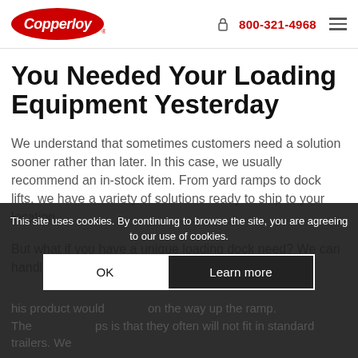Copperloy | 800-321-4968
You Needed Your Loading Equipment Yesterday
We understand that sometimes customers need a solution sooner rather than later. In this case, we usually recommend an in-stock item. From yard ramps to dock lifts, we have a variety of solutions ready to ship to your location.
But what if you have a unique loading dock need? We can handle that, too.
his product would cause cards on the way up the ramp. The advantage of these dock ramps is that they often will not fit in standard trailers. We
This site uses cookies. By continuing to browse the site, you are agreeing to our use of cookies.